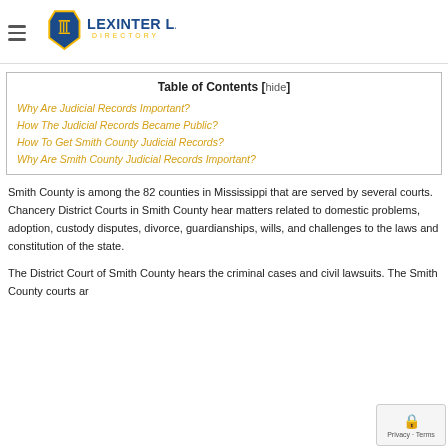Lexinter Law Directory
| Table of Contents |
| --- |
| Why Are Judicial Records Important? |
| How The Judicial Records Became Public? |
| How To Get Smith County Judicial Records? |
| Why Are Smith County Judicial Records Important? |
Smith County is among the 82 counties in Mississippi that are served by several courts. Chancery District Courts in Smith County hear matters related to domestic problems, adoption, custody disputes, divorce, guardianships, wills, and challenges to the laws and constitution of the state.
The District Court of Smith County hears the criminal cases and civil lawsuits. The Smith County courts are under the jurisdiction of the United States District Court...